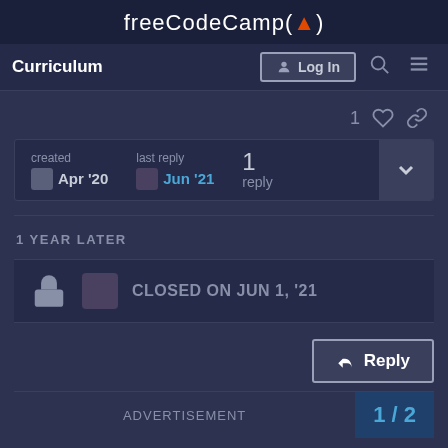freeCodeCamp(🔥)
Curriculum  Log In
1 ♡ 🔗
| created | last reply | replies |
| --- | --- | --- |
| Apr '20 | Jun '21 | 1 reply |
1 YEAR LATER
CLOSED ON JUN 1, '21
Reply
ADVERTISEMENT
1 / 2